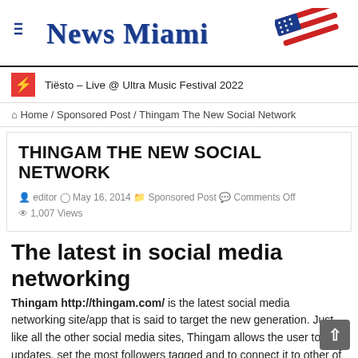News Miami
Tiësto – Live @ Ultra Music Festival 2022
Home / Sponsored Post / Thingam The New Social Network
THINGAM THE NEW SOCIAL NETWORK
editor   May 16, 2014   Sponsored Post   Comments Off   1,007 Views
The latest in social media networking
Thingam http://thingam.com/ is the latest social media networking site/app that is said to target the new generation. Just like all the other social media sites, Thingam allows the user to post updates, set the most followers tagged and to connect it to other of the